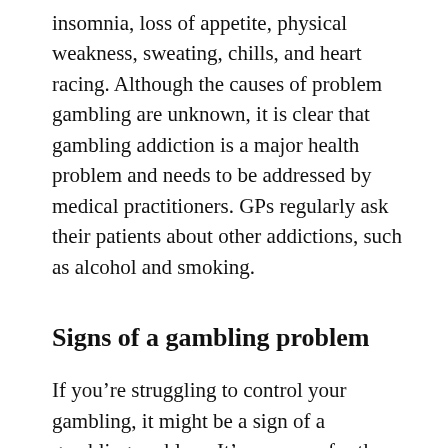insomnia, loss of appetite, physical weakness, sweating, chills, and heart racing. Although the causes of problem gambling are unknown, it is clear that gambling addiction is a major health problem and needs to be addressed by medical practitioners. GPs regularly ask their patients about other addictions, such as alcohol and smoking.
Signs of a gambling problem
If you're struggling to control your gambling, it might be a sign of a gambling problem. It's common for those who are suffering from a gambling addiction to feel restless and irritable